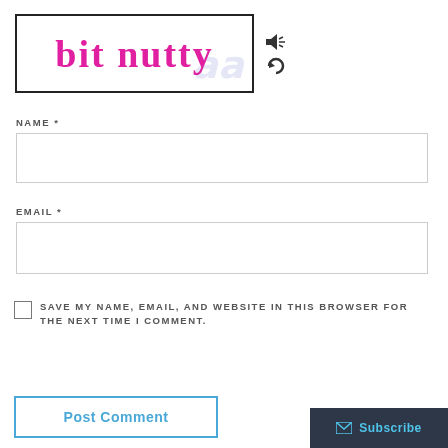[Figure (logo): CAPTCHA image box showing 'bit nutty' text in pink handwritten font with a faint watermark, alongside audio and refresh icons]
NAME *
[Figure (other): Empty text input field for NAME]
EMAIL *
[Figure (other): Empty text input field for EMAIL]
SAVE MY NAME, EMAIL, AND WEBSITE IN THIS BROWSER FOR THE NEXT TIME I COMMENT.
Post Comment
Subscribe